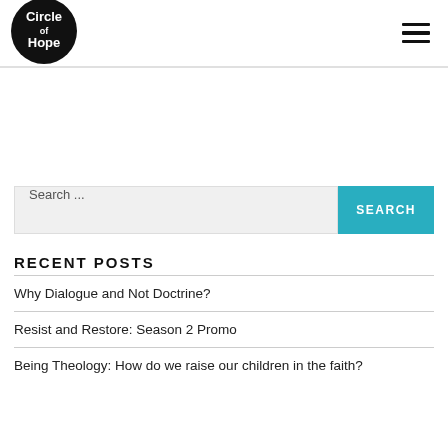[Figure (logo): Circle of Hope circular black logo with white text]
Search ...
RECENT POSTS
Why Dialogue and Not Doctrine?
Resist and Restore: Season 2 Promo
Being Theology: How do we raise our children in the faith?